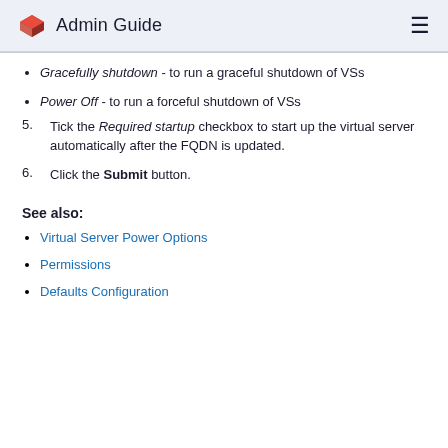Admin Guide
Gracefully shutdown - to run a graceful shutdown of VSs
Power Off - to run a forceful shutdown of VSs
5. Tick the Required startup checkbox to start up the virtual server automatically after the FQDN is updated.
6. Click the Submit button.
See also:
Virtual Server Power Options
Permissions
Defaults Configuration